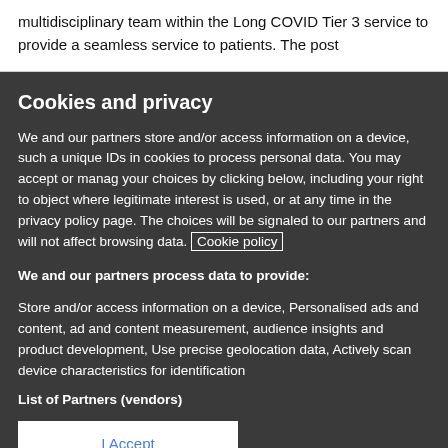multidisciplinary team within the Long COVID Tier 3 service to provide a seamless service to patients. The post
Cookies and privacy
We and our partners store and/or access information on a device, such a unique IDs in cookies to process personal data. You may accept or manag your choices by clicking below, including your right to object where legitimate interest is used, or at any time in the privacy policy page. The choices will be signaled to our partners and will not affect browsing data. Cookie policy
We and our partners process data to provide:
Store and/or access information on a device, Personalised ads and content, ad and content measurement, audience insights and product development, Use precise geolocation data, Actively scan device characteristics for identification
List of Partners (vendors)
I Accept